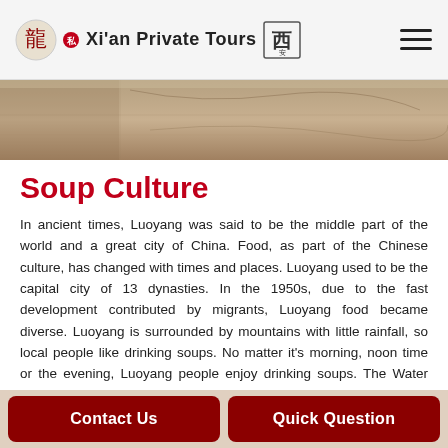Xi'an Private Tours
[Figure (photo): Partial view of a stone or rock surface, brownish-tan colored, appears to be a heritage or archaeological site image.]
Soup Culture
In ancient times, Luoyang was said to be the middle part of the world and a great city of China. Food, as part of the Chinese culture, has changed with times and places. Luoyang used to be the capital city of 13 dynasties. In the 1950s, due to the fast development contributed by migrants, Luoyang food became diverse. Luoyang is surrounded by mountains with little rainfall, so local people like drinking soups. No matter it's morning, noon time or the evening, Luoyang people enjoy drinking soups. The Water Banquet, mainly with soup, has become the national feast and Luoyang's pride. Therefore, the essence of Luoyang food is concluded in one word, soup.
Contact Us
Quick Question